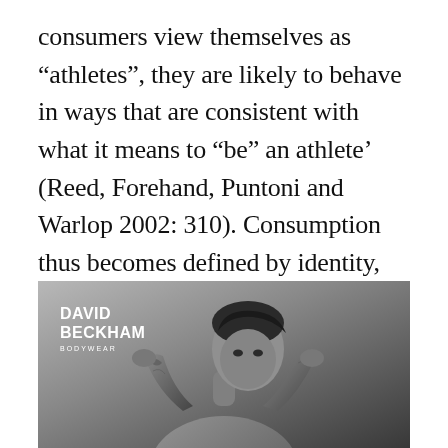consumers view themselves as “athletes”, they are likely to behave in ways that are consistent with what it means to “be” an athlete’ (Reed, Forehand, Puntoni and Warlop 2002: 310). Consumption thus becomes defined by identity, and identity becomes defined by consumption.
[Figure (photo): Black and white advertisement photo for David Beckham Bodywear showing David Beckham shirtless with tattoos, arms raised behind his head, with the brand logo 'DAVID BECKHAM BODYWEAR' in the upper left corner]